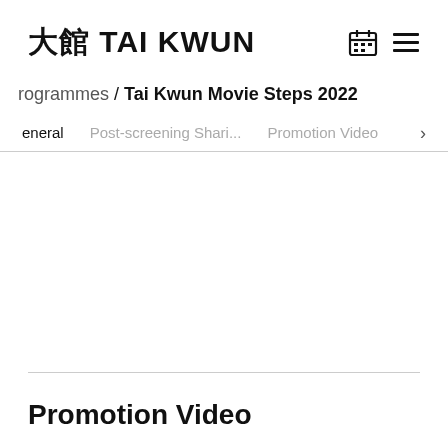大館 TAI KWUN
rogrammes / Tai Kwun Movie Steps 2022
eneral   Post-screening Shari...   Promotion Video   >
Promotion Video